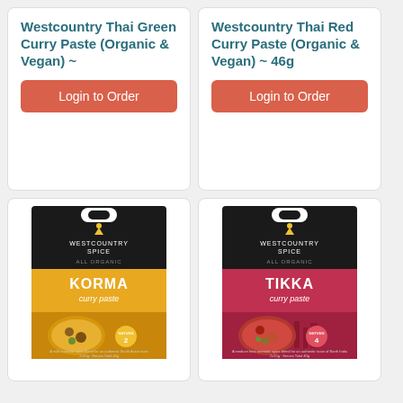Westcountry Thai Green Curry Paste (Organic & Vegan) ~
Login to Order
Westcountry Thai Red Curry Paste (Organic & Vegan) ~ 46g
Login to Order
[Figure (photo): Westcountry Spice All Organic Korma curry paste product package with a dark background, yellow branding and a bowl of korma dish]
[Figure (photo): Westcountry Spice All Organic Tikka curry paste product package with a dark background, red/pink branding and a bowl of tikka dish]